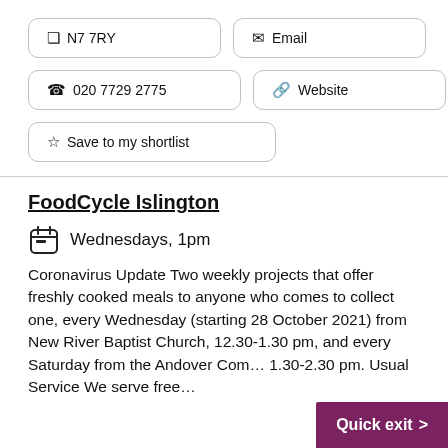📍 N7 7RY
✉ Email
📞 020 7729 2775
🔗 Website
☆ Save to my shortlist
FoodCycle Islington
Wednesdays, 1pm
Coronavirus Update Two weekly projects that offer freshly cooked meals to anyone who comes to collect one, every Wednesday (starting 28 October 2021) from New River Baptist Church, 12.30-1.30 pm, and every Saturday from the Andover Com… 1.30-2.30 pm. Usual Service We serve free…